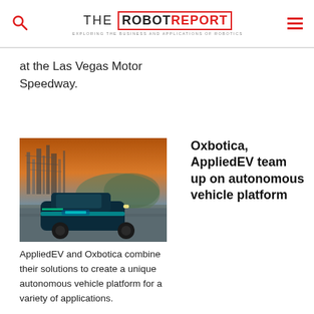THE ROBOT REPORT — EXPLORING THE BUSINESS AND APPLICATIONS OF ROBOTICS
at the Las Vegas Motor Speedway.
[Figure (photo): An autonomous electric vehicle (AppliedEV / Oxbotica) on a road with an industrial facility in the background at sunset.]
Oxbotica, AppliedEV team up on autonomous vehicle platform
AppliedEV and Oxbotica combine their solutions to create a unique autonomous vehicle platform for a variety of applications.